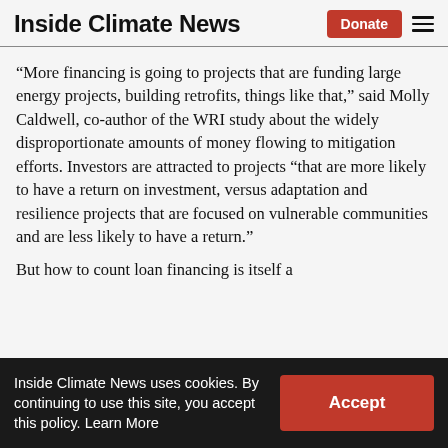Inside Climate News | Donate
“More financing is going to projects that are funding large energy projects, building retrofits, things like that,” said Molly Caldwell, co-author of the WRI study about the widely disproportionate amounts of money flowing to mitigation efforts. Investors are attracted to projects “that are more likely to have a return on investment, versus adaptation and resilience projects that are focused on vulnerable communities and are less likely to have a return.”
But how to count loan financing is itself a
Inside Climate News uses cookies. By continuing to use this site, you accept this policy. Learn More